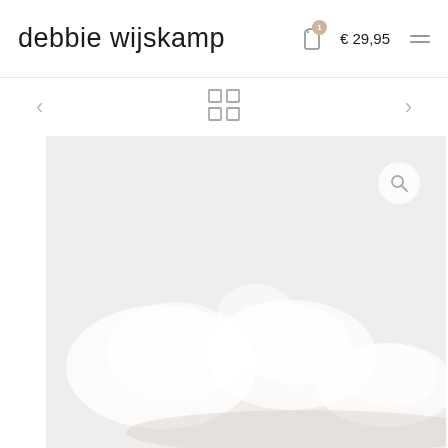debbie wijskamp
€ 29,95
[Figure (screenshot): E-commerce website header for 'debbie wijskamp' showing logo text on left, shopping bag icon with badge showing 1 item and price €29,95, and hamburger menu icon on right]
[Figure (photo): Product photo showing soft white/cream colored rounded objects (possibly pillows or ceramics) on a light gray background, with a grid/gallery icon and navigation arrows visible above, and a circular search button overlaid on the image]